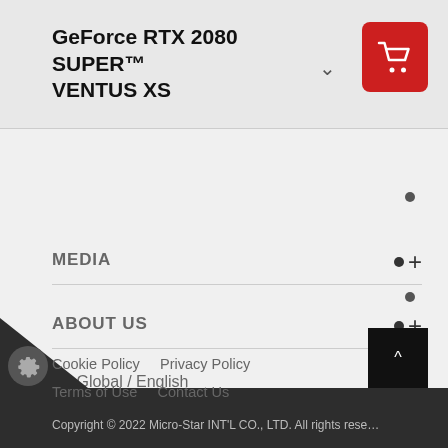GeForce RTX 2080 SUPER™ VENTUS XS
MEDIA
ABOUT US
🌐 Global / English
Cookie Policy    Privacy Policy
Terms of Use    Contact Us
Copyright © 2022 Micro-Star INT'L CO., LTD. All rights reserved.